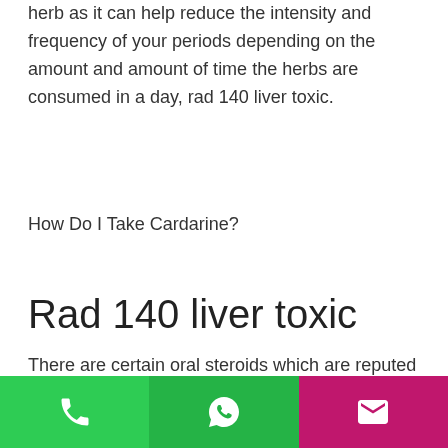herb as it can help reduce the intensity and frequency of your periods depending on the amount and amount of time the herbs are consumed in a day, rad 140 liver toxic.
How Do I Take Cardarine?
Rad 140 liver toxic
There are certain oral steroids which are reputed to have more potent toxic effects in the liver and promote the liver swelling that can lead to cholestasis(disease of the liver); these compounds are a result of the action of the enzyme adenoyl cyclase, which is found in the liver, to hydrolyze the fatty acids in the body and remove them from the bloodstream.
[Figure (other): Bottom navigation bar with three colored buttons: green phone icon, green WhatsApp icon, pink/magenta email icon]